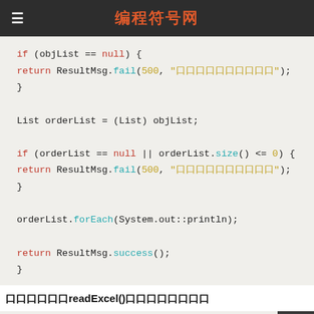编程符号网
[Figure (screenshot): Java code snippet showing null checks on objList and orderList, then forEach and return ResultMsg.success()]
下面我们来看readExcel()方法的具体实现
[Figure (screenshot): Java Javadoc comment block: /** * 读取 sheet 里 Excel * * @param excel 工作]